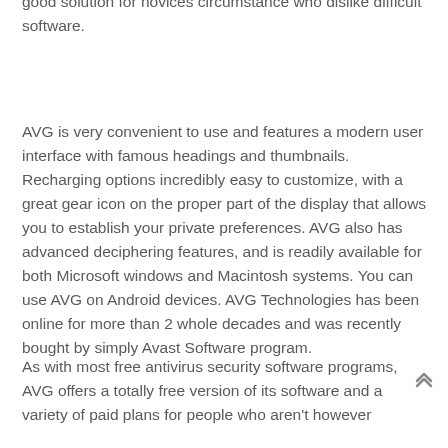good solution for novices circumstance who dislike difficult software.
AVG is very convenient to use and features a modern user interface with famous headings and thumbnails. Recharging options incredibly easy to customize, with a great gear icon on the proper part of the display that allows you to establish your private preferences. AVG also has advanced deciphering features, and is readily available for both Microsoft windows and Macintosh systems. You can use AVG on Android devices. AVG Technologies has been online for more than 2 whole decades and was recently bought by simply Avast Software program.
As with most free antivirus security software programs, AVG offers a totally free version of its software and a variety of paid plans for people who aren't however